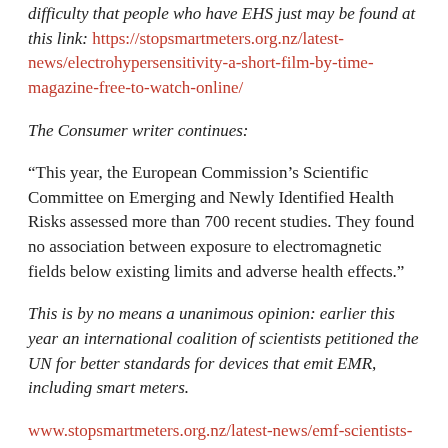difficulty that people who have EHS just may be found at this link: https://stopsmartmeters.org.nz/latest-news/electrohypersensitivity-a-short-film-by-time-magazine-free-to-watch-online/
The Consumer writer continues:
“This year, the European Commission’s Scientific Committee on Emerging and Newly Identified Health Risks assessed more than 700 recent studies. They found no association between exposure to electromagnetic fields below existing limits and adverse health effects.”
This is by no means a unanimous opinion: earlier this year an international coalition of scientists petitioned the UN for better standards for devices that emit EMR, including smart meters.
www.stopsmartmeters.org.nz/latest-news/emf-scientists-appeal-to-united-nations-for-better-safety-